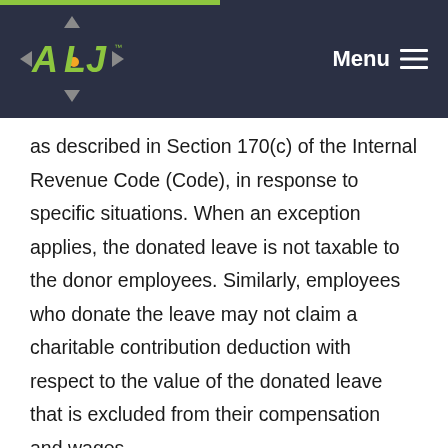ALJ - Menu
as described in Section 170(c) of the Internal Revenue Code (Code), in response to specific situations. When an exception applies, the donated leave is not taxable to the donor employees. Similarly, employees who donate the leave may not claim a charitable contribution deduction with respect to the value of the donated leave that is excluded from their compensation and wages.
The IRS most recently provided tax relief for employer-sponsored leave-donation programs to